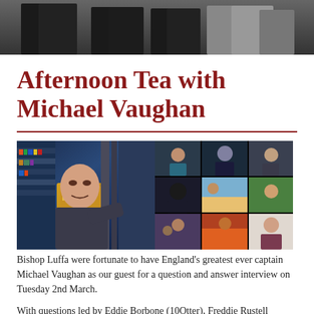[Figure (photo): Top portion showing people standing, cropped at torso/legs level against a grey background]
Afternoon Tea with Michael Vaughan
[Figure (screenshot): Screenshot of a video call showing Michael Vaughan on the left in a room with bookshelves, and a grid of student participants on the right]
Bishop Luffa were fortunate to have England's greatest ever captain Michael Vaughan as our guest for a question and answer interview on Tuesday 2nd March.
With questions led by Eddie Borbone (10Otter), Freddie Rustell (10Ridgeway), Arran Goode (8Story), Izzy Stuart